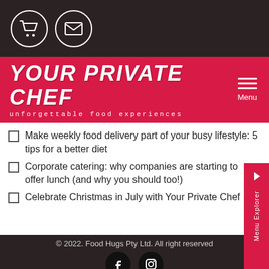[Figure (screenshot): Top dark navigation bar with shopping cart and email icons in white circles]
[Figure (logo): Your Private Chef logo in red banner with tagline 'unforgettable food experiences' and hamburger menu icon]
Make weekly food delivery part of your busy lifestyle: 5 tips for a better diet
Corporate catering: why companies are starting to offer lunch (and why you should too!)
Celebrate Christmas in July with Your Private Chef
© 2022. Food Hugs Pty Ltd. All right reserved
[Figure (screenshot): Social media icons: Facebook and Instagram in dark circles; Menu Explorer side tab in red]